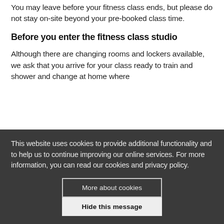You may leave before your fitness class ends, but please do not stay on-site beyond your pre-booked class time.
Before you enter the fitness class studio
Although there are changing rooms and lockers available, we ask that you arrive for your class ready to train and shower and change at home where
This website uses cookies to provide additional functionality and to help us to continue improving our online services. For more information, you can read our cookies and privacy policy.
More about cookies
Hide this message